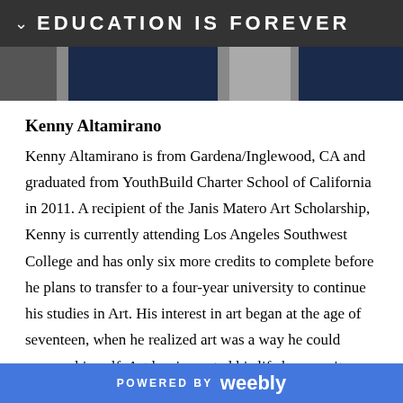EDUCATION IS FOREVER
[Figure (photo): Photo strip showing partial images of people against dark backgrounds]
Kenny Altamirano
Kenny Altamirano is from Gardena/Inglewood, CA and graduated from YouthBuild Charter School of California in 2011. A recipient of the Janis Matero Art Scholarship, Kenny is currently attending Los Angeles Southwest College and has only six more credits to complete before he plans to transfer to a four-year university to continue his studies in Art. His interest in art began at the age of seventeen, when he realized art was a way he could express himself. Art has impacted his life because it helps through tough times and releases stress. Although he
POWERED BY weebly